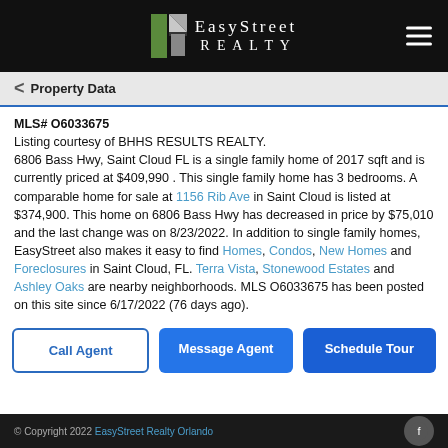EasyStreet Realty
Property Data
MLS# O6033675
Listing courtesy of BHHS RESULTS REALTY.
6806 Bass Hwy, Saint Cloud FL is a single family home of 2017 sqft and is currently priced at $409,990 . This single family home has 3 bedrooms. A comparable home for sale at 1156 Rib Ave in Saint Cloud is listed at $374,900. This home on 6806 Bass Hwy has decreased in price by $75,010 and the last change was on 8/23/2022. In addition to single family homes, EasyStreet also makes it easy to find Homes, Condos, New Homes and Foreclosures in Saint Cloud, FL. Terra Vista, Stonewood Estates and Ashley Oaks are nearby neighborhoods. MLS O6033675 has been posted on this site since 6/17/2022 (76 days ago).
© Copyright 2022 EasyStreet Realty Orlando